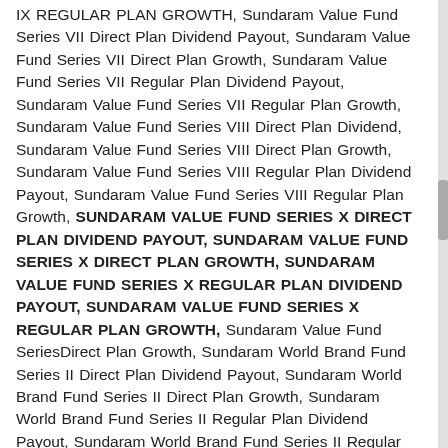IX REGULAR PLAN GROWTH, Sundaram Value Fund Series VII Direct Plan Dividend Payout, Sundaram Value Fund Series VII Direct Plan Growth, Sundaram Value Fund Series VII Regular Plan Dividend Payout, Sundaram Value Fund Series VII Regular Plan Growth, Sundaram Value Fund Series VIII Direct Plan Dividend, Sundaram Value Fund Series VIII Direct Plan Growth, Sundaram Value Fund Series VIII Regular Plan Dividend Payout, Sundaram Value Fund Series VIII Regular Plan Growth, SUNDARAM VALUE FUND SERIES X DIRECT PLAN DIVIDEND PAYOUT, SUNDARAM VALUE FUND SERIES X DIRECT PLAN GROWTH, SUNDARAM VALUE FUND SERIES X REGULAR PLAN DIVIDEND PAYOUT, SUNDARAM VALUE FUND SERIES X REGULAR PLAN GROWTH, Sundaram Value Fund SeriesDirect Plan Growth, Sundaram World Brand Fund Series II Direct Plan Dividend Payout, Sundaram World Brand Fund Series II Direct Plan Growth, Sundaram World Brand Fund Series II Regular Plan Dividend Payout, Sundaram World Brand Fund Series II Regular Plan Growth, Sundaram World Brand Fund Series III Direct Plan Dividend Payout, Sundaram World Brand Fund Series...